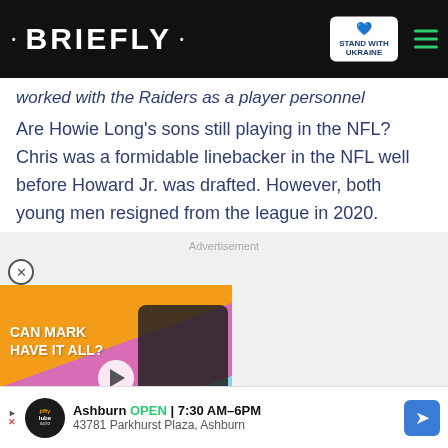• BRIEFLY •
worked with the Raiders as a player personnel assistant.
Are Howie Long's sons still playing in the NFL? Chris was a formidable linebacker in the NFL well before Howard Jr. was drafted. However, both young men resigned from the league in 2020.
Advertisement
[Figure (photo): Advertisement featuring a person with text 'CAN MARK HAVE IT ALL?' with a play button overlay and red chevron button at bottom.]
[Figure (infographic): Bottom ad bar: Jiffy Lube logo, Ashburn OPEN 7:30AM-6PM, 43781 Parkhurst Plaza, Ashburn, with navigation arrow icon.]